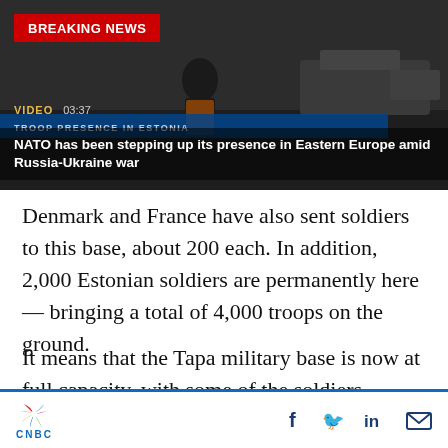[Figure (screenshot): CNBC video thumbnail showing a military scene with tanks. Breaking News red badge in top-left. Video label and duration 03:37. Chyron overlay reads 'TROOP PRESENCE IN ESTONIA'. Title: 'NATO has been stepping up its presence in Eastern Europe amid Russia-Ukraine war']
Denmark and France have also sent soldiers to this base, about 200 each. In addition, 2,000 Estonian soldiers are permanently here — bringing a total of 4,000 troops on the ground.
It means that the Tapa military base is now at full capacity, with some of the soldiers having to sleep in tents.
CNBC — social share icons: Facebook, Twitter, LinkedIn, Email